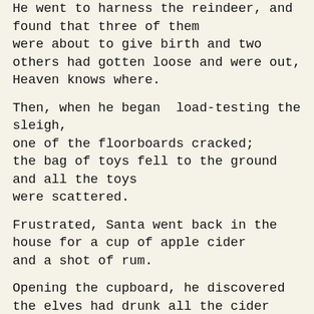He went to harness the reindeer, and found that three of them
were about to give birth and two others had gotten loose and were out,
Heaven knows where.

Then, when he began load-testing the sleigh, one of the floorboards cracked;
the bag of toys fell to the ground and all the toys were scattered.

Frustrated, Santa went back in the house for a cup of apple cider
and a shot of rum.

Opening the cupboard, he discovered the elves had drunk all the cider
and hidden the liquor.  In his frustration, he accidentally dropped the cider jug,
breaking it into hundreds of little glass pieces all over the kitchen floor.